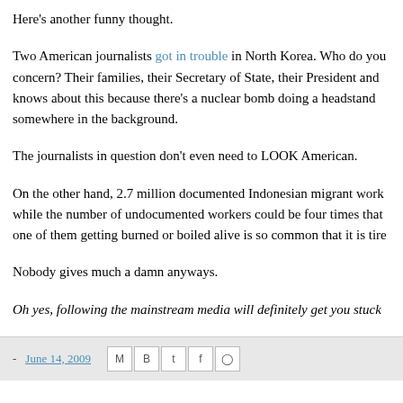Here's another funny thought.
Two American journalists got in trouble in North Korea. Who do you concern? Their families, their Secretary of State, their President and knows about this because there's a nuclear bomb doing a headstand somewhere in the background.
The journalists in question don't even need to LOOK American.
On the other hand, 2.7 million documented Indonesian migrant work while the number of undocumented workers could be four times that one of them getting burned or boiled alive is so common that it is tire
Nobody gives much a damn anyways.
Oh yes, following the mainstream media will definitely get you stuck
- June 14, 2009
9.6.09
"Pay What You Want": It works, but